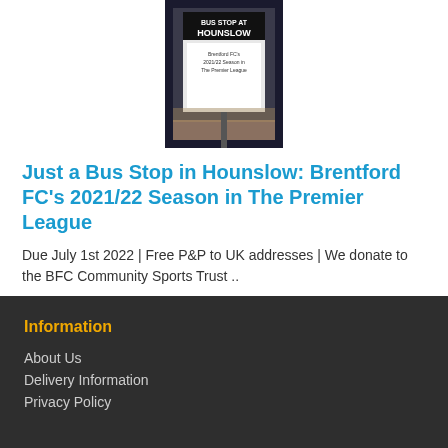[Figure (photo): Photo of a bus stop advertisement in Hounslow showing Brentford FC's 2021/22 Season in The Premier League]
Just a Bus Stop in Hounslow: Brentford FC's 2021/22 Season in The Premier League
Due July 1st 2022 | Free P&P to UK addresses | We donate to the BFC Community Sports Trust ..
Information
About Us
Delivery Information
Privacy Policy